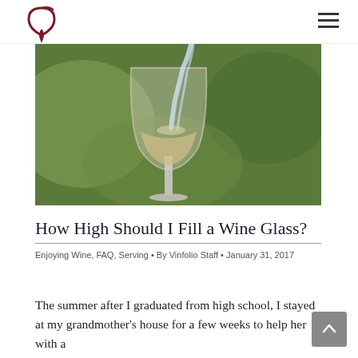[Figure (logo): Vinfolio logo — dark red wine glass / drop shape icon]
[Figure (photo): White wine being poured into a crystal wine glass, bokeh green background]
How High Should I Fill a Wine Glass?
Enjoying Wine, FAQ, Serving • By Vinfolio Staff • January 31, 2017
The summer after I graduated from high school, I stayed at my grandmother's house for a few weeks to help her with a